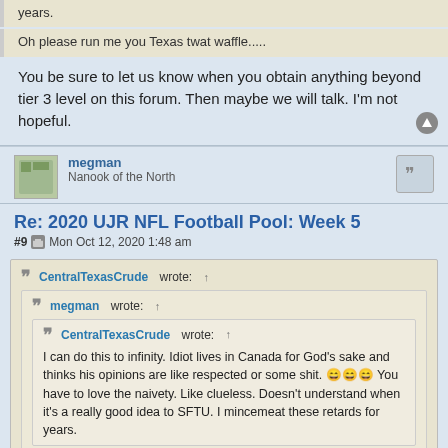years.
Oh please run me you Texas twat waffle.....
You be sure to let us know when you obtain anything beyond tier 3 level on this forum. Then maybe we will talk. I'm not hopeful.
megman
Nanook of the North
Re: 2020 UJR NFL Football Pool: Week 5
#9  Mon Oct 12, 2020 1:48 am
CentralTexasCrude wrote: ↑
megman wrote: ↑
CentralTexasCrude wrote: ↑
I can do this to infinity. Idiot lives in Canada for God's sake and thinks his opinions are like respected or some shit. 😄😄😄 You have to love the naivety. Like clueless. Doesn't understand when it's a really good idea to SFTU. I mincemeat these retards for years.